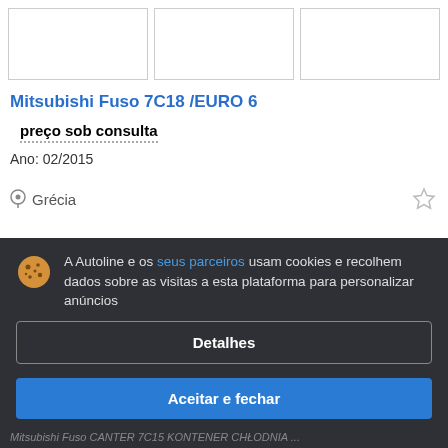[Figure (photo): Three vehicle listing thumbnail image boxes (empty/white)]
Mitsubishi Fuso 7C18 /EURO 6
preço sob consulta
Ano: 02/2015
Grécia
A Autoline e os seus parceiros usam cookies e recolhem dados sobre as visitas a esta plataforma para personalizar anúncios
Detalhes
Aceitar e fechar
Mitsubishi Fuso CANTER 7C15 KONTENER CHŁODNIA ...